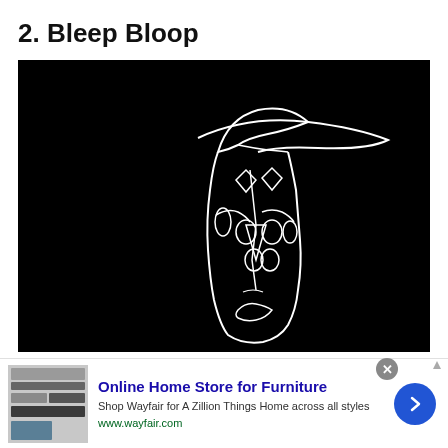2. Bleep Bloop
[Figure (illustration): Abstract line art on black background showing a stylized face wearing a wide-brimmed hat, drawn in white continuous single-line style with geometric facial features including eyes, nose, and lips]
[Figure (other): Advertisement banner for Wayfair Online Home Store for Furniture. Shows product images on left, ad title 'Online Home Store for Furniture', description 'Shop Wayfair for A Zillion Things Home across all styles', URL www.wayfair.com, and a blue arrow button on right.]